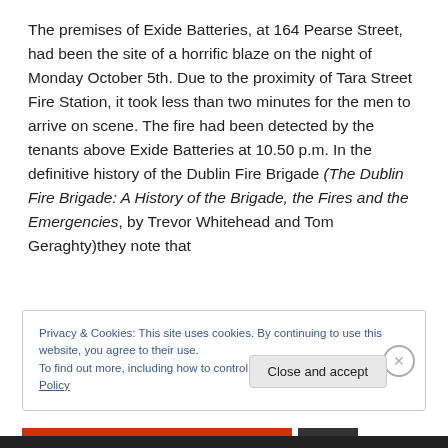The premises of Exide Batteries, at 164 Pearse Street, had been the site of a horrific blaze on the night of Monday October 5th. Due to the proximity of Tara Street Fire Station, it took less than two minutes for the men to arrive on scene. The fire had been detected by the tenants above Exide Batteries at 10.50 p.m. In the definitive history of the Dublin Fire Brigade (The Dublin Fire Brigade: A History of the Brigade, the Fires and the Emergencies, by Trevor Whitehead and Tom Geraghty)they note that
Privacy & Cookies: This site uses cookies. By continuing to use this website, you agree to their use.
To find out more, including how to control cookies, see here: Cookie Policy
Close and accept